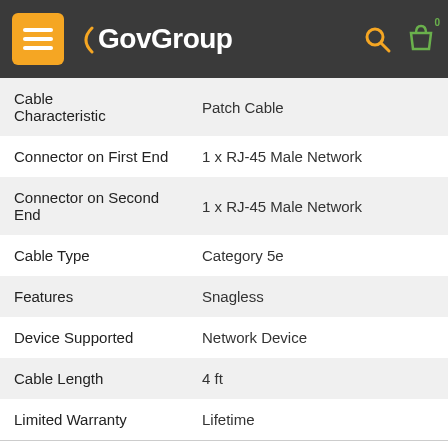GovGroup
| Attribute | Value |
| --- | --- |
| Cable Characteristic | Patch Cable |
| Connector on First End | 1 x RJ-45 Male Network |
| Connector on Second End | 1 x RJ-45 Male Network |
| Cable Type | Category 5e |
| Features | Snagless |
| Device Supported | Network Device |
| Cable Length | 4 ft |
| Limited Warranty | Lifetime |